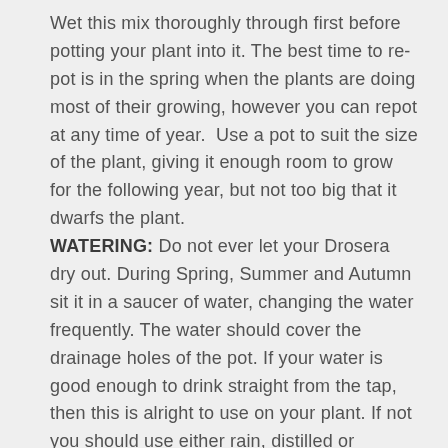Wet this mix thoroughly through first before potting your plant into it. The best time to re-pot is in the spring when the plants are doing most of their growing, however you can repot at any time of year.  Use a pot to suit the size of the plant, giving it enough room to grow for the following year, but not too big that it dwarfs the plant.
WATERING: Do not ever let your Drosera dry out. During Spring, Summer and Autumn sit it in a saucer of water, changing the water frequently. The water should cover the drainage holes of the pot. If your water is good enough to drink straight from the tap, then this is alright to use on your plant. If not you should use either rain, distilled or reverse osmosis water.
In winter do not let the plant dry out but